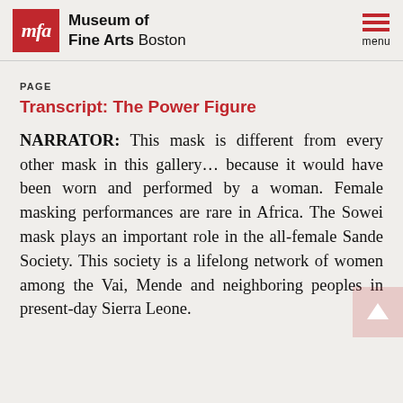Museum of Fine Arts Boston
PAGE
Transcript: The Power Figure
NARRATOR: This mask is different from every other mask in this gallery... because it would have been worn and performed by a woman. Female masking performances are rare in Africa. The Sowei mask plays an important role in the all-female Sande Society. This society is a lifelong network of women among the Vai, Mende and neighboring peoples in present-day Sierra Leone.